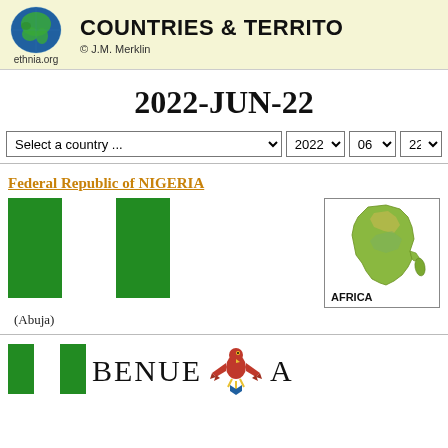COUNTRIES & TERRITORIES — ethnia.org © J.M. Merklin
2022-JUN-22
Select a country ... | 2022 | 06 | 22
Federal Republic of NIGERIA
[Figure (illustration): Nigerian national flag: three vertical stripes — green, white, green]
[Figure (map): Map of Africa continent highlighted, labeled AFRICA]
(Abuja)
BENUE